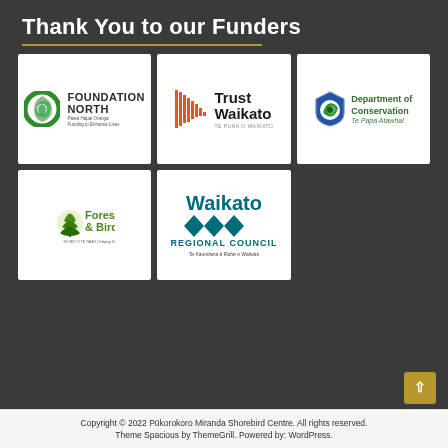Thank You to our Funders
[Figure (logo): Foundation North logo - green circular spiral icon with text FOUNDATION NORTH and tagline Pātea Hāpai Oranga, Funding to Enhance Lives]
[Figure (logo): Trust Waikato logo - orange wheat/fan icon with text Trust Waikato, Te Puna o Waikato]
[Figure (logo): Department of Conservation logo - shield with green koru icon and text Department of Conservation, Te Papa Atawhai]
[Figure (logo): Forest & Bird logo - green tree icon with text Forest & Bird, Te Reo o te Taiao, Helping Nature to Thrive]
[Figure (logo): Waikato Regional Council logo - teal interlocking wave/chevron shapes with text Waikato Regional Council, Te Kaunihera ā Rohe o Waikato]
Copyright © 2022 Pūkorokoro Miranda Shorebird Centre. All rights reserved. Theme Spacious by ThemeGrill. Powered by: WordPress.